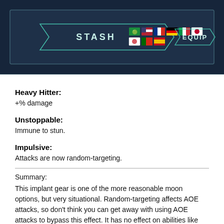[Figure (screenshot): Game UI screenshot showing STASH and EQUIP tabs with multiple country flag icons (Saudi Arabia, USA, France, Germany, Italy, Japan, South Korea, Portugal, Spain)]
Heavy Hitter: +% damage
Unstoppable: Immune to stun.
Impulsive: Attacks are now random-targeting.
Summary: This implant gear is one of the more reasonable moon options, but very situational. Random-targeting affects AOE attacks, so don't think you can get away with using AOE attacks to bypass this effect. It has no effect on abilities like Mop Up which are already random, so it's useful on someone who uses that, or if you happen to pick this up before fighting